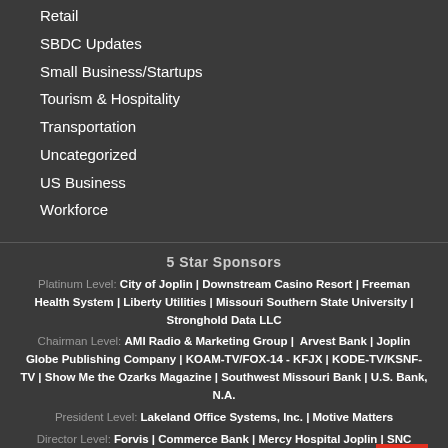Retail
SBDC Updates
Small Business/Startups
Tourism & Hospitality
Transportation
Uncategorized
US Business
Workforce
5 Star Sponsors
Platinum Level: City of Joplin | Downstream Casino Resort | Freeman Health System | Liberty Utilities | Missouri Southern State University | Stronghold Data LLC
Chairman Level: AMI Radio & Marketing Group | Arvest Bank | Joplin Globe Publishing Company | KOAM-TV/FOX-14 - KFJX | KODE-TV/KSNF-TV | Show Me the Ozarks Magazine | Southwest Missouri Bank | U.S. Bank, N.A.
President Level: Lakeland Office Systems, Inc. | Motive Matters
Director Level: Forvis | Commerce Bank | Mercy Hospital Joplin | SNC Squared
Copyright © 2020 | Web Development by Storm Cloud Marketing